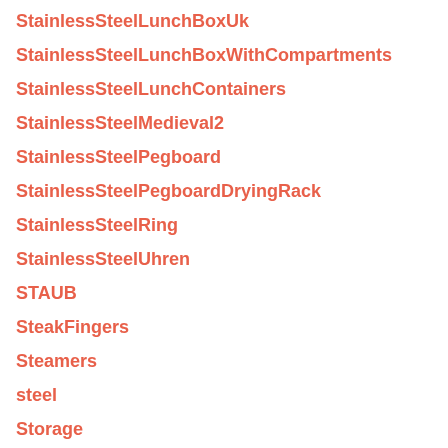StainlessSteelLunchBoxUk
StainlessSteelLunchBoxWithCompartments
StainlessSteelLunchContainers
StainlessSteelMedieval2
StainlessSteelPegboard
StainlessSteelPegboardDryingRack
StainlessSteelRing
StainlessSteelUhren
STAUB
SteakFingers
Steamers
steel
Storage
StorageBinRackOnWheels
StorageBinMobile